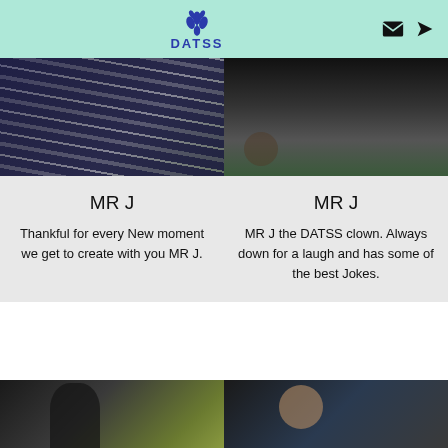DATSS
[Figure (photo): Close-up of a striped shirt on a green background]
MR J
Thankful for every New moment we get to create with you MR J.
[Figure (photo): Person in dark shirt showing tattoo on arm]
MR J
MR J the DATSS clown. Always down for a laugh and has some of the best Jokes.
[Figure (photo): Man smiling at an outdoor event at night]
[Figure (photo): Man making a face with hand gesture]